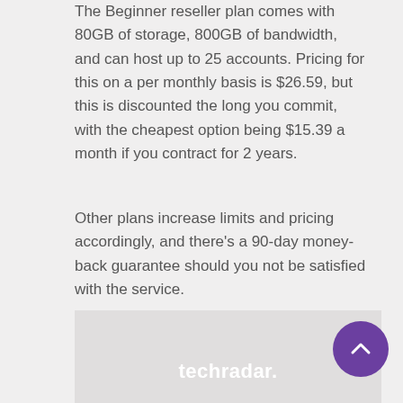The Beginner reseller plan comes with 80GB of storage, 800GB of bandwidth, and can host up to 25 accounts. Pricing for this on a per monthly basis is $26.59, but this is discounted the long you commit, with the cheapest option being $15.39 a month if you contract for 2 years.
Other plans increase limits and pricing accordingly, and there's a 90-day money-back guarantee should you not be satisfied with the service.
[Figure (logo): TechRadar logo in white text on a light grey background rectangle]